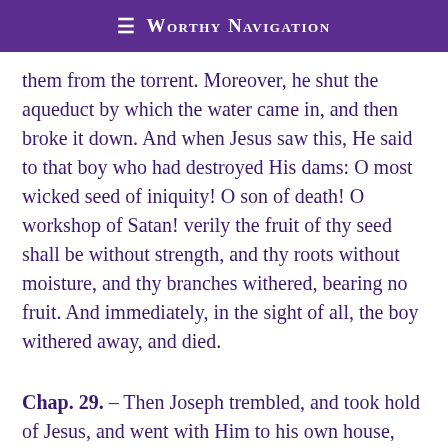≡ Worthy Navigation
them from the torrent. Moreover, he shut the aqueduct by which the water came in, and then broke it down. And when Jesus saw this, He said to that boy who had destroyed His dams: O most wicked seed of iniquity! O son of death! O workshop of Satan! verily the fruit of thy seed shall be without strength, and thy roots without moisture, and thy branches withered, bearing no fruit. And immediately, in the sight of all, the boy withered away, and died.
Chap. 29. – Then Joseph trembled, and took hold of Jesus, and went with Him to his own house, and His mother with Him. And, behold, suddenly from the opposite direction a boy,